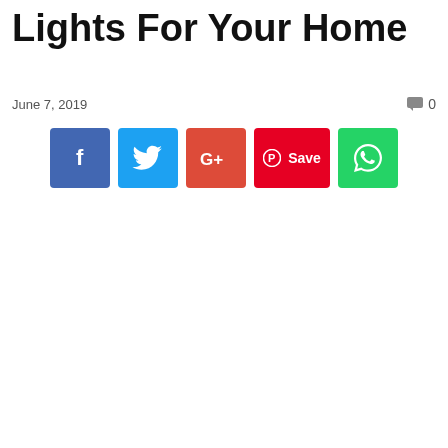Lights For Your Home
June 7, 2019
0
[Figure (other): Social share buttons: Facebook (blue), Twitter (light blue), Google+ (red-orange), Pinterest Save (red with pin icon), WhatsApp (green with phone icon)]